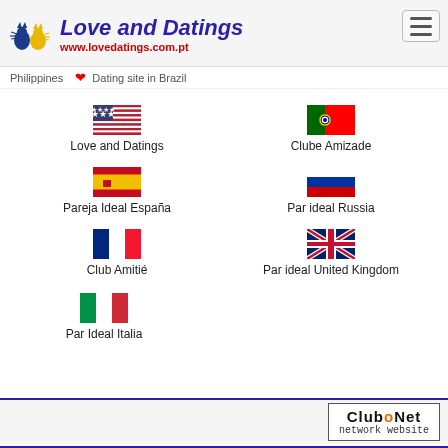Love and Datings — www.lovedatings.com.pt
Philippines ❤ Dating site in Brazil
[Figure (illustration): US flag icon above 'Love and Datings']
[Figure (illustration): Portugal flag icon above 'Clube Amizade']
[Figure (illustration): Spain flag icon above 'Pareja Ideal España']
[Figure (illustration): Russia flag icon above 'Par ideal Russia']
[Figure (illustration): France flag icon above 'Club Amitié']
[Figure (illustration): UK flag icon above 'Par ideal United Kingdom']
[Figure (illustration): Italy flag icon above 'Par Ideal Italia']
CluboNet network website